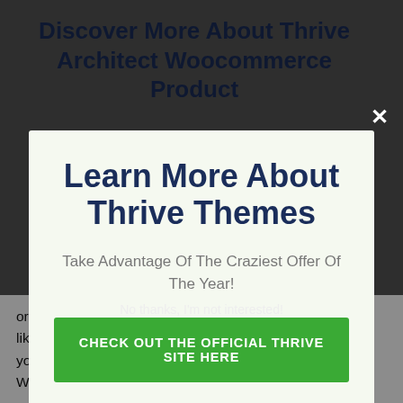Discover More About Thrive Architect Woocommerce Product
Learn More About Thrive Themes
Take Advantage Of The Craziest Offer Of The Year!
CHECK OUT THE OFFICIAL THRIVE SITE HERE
No thanks, I'm not interested!
organize them into components as well as chapters. You likewise get full development tracking features that enable you to monitor every little thing from right within your WordPress dashboard to